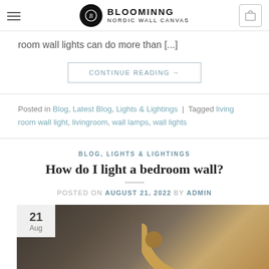BLOOMINNG NORDIC WALL CANVAS
room wall lights can do more than [...]
CONTINUE READING →
Posted in Blog, Latest Blog, Lights & Lightings | Tagged living room wall light, livingroom, wall lamps, wall lights
BLOG, LIGHTS & LIGHTINGS
How do I light a bedroom wall?
POSTED ON AUGUST 21, 2022 BY ADMIN
[Figure (photo): Photo of a gold/brass arc wall lamp against a dark bedroom wall, with a date badge showing 21 Aug in the top left corner.]